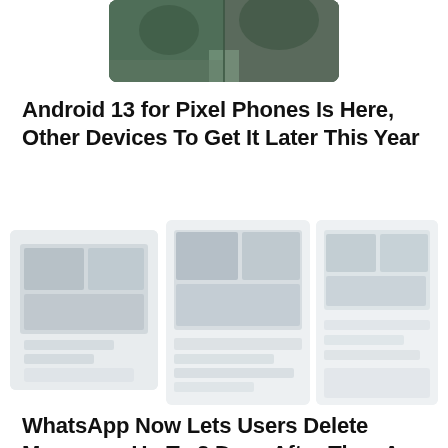[Figure (photo): Cropped nature/forest photo at top of page, partially visible]
Android 13 for Pixel Phones Is Here, Other Devices To Get It Later This Year
[Figure (screenshot): Three smartphone/device screenshots showing Android interface, partially faded/light]
WhatsApp Now Lets Users Delete Messages Up To 2 Days After They Are